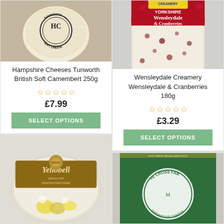[Figure (photo): Hampshire Cheeses Tunworth soft cheese round with branded stamp on top, viewed from above on wooden surface]
Hampshire Cheeses Tunworth British Soft Camembert 250g
☆☆☆☆☆
£7.99
SELECT OPTIONS
[Figure (photo): Yellobell cheese product in clear packaging with brown label, filled with yellow peppers and cream cheese]
[Figure (photo): Wensleydale Creamery Yorkshire Wensleydale & Cranberries 180g cheese in packaging with red label]
Wensleydale Creamery Wensleydale & Cranberries 180g
☆☆☆☆☆
£3.29
SELECT OPTIONS
[Figure (photo): Ye Cross Farm cheese product in green packaging with white logo, stay fresh resealable pack]